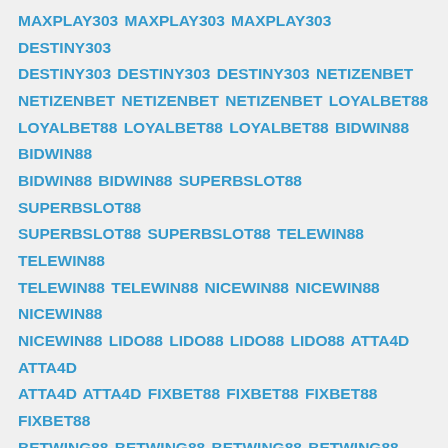MAXPLAY303 MAXPLAY303 MAXPLAY303 DESTINY303 DESTINY303 DESTINY303 DESTINY303 NETIZENBET NETIZENBET NETIZENBET NETIZENBET LOYALBET88 LOYALBET88 LOYALBET88 LOYALBET88 BIDWIN88 BIDWIN88 BIDWIN88 BIDWIN88 SUPERBSLOT88 SUPERBSLOT88 SUPERBSLOT88 SUPERBSLOT88 TELEWIN88 TELEWIN88 TELEWIN88 TELEWIN88 NICEWIN88 NICEWIN88 NICEWIN88 NICEWIN88 LIDO88 LIDO88 LIDO88 LIDO88 ATTA4D ATTA4D ATTA4D ATTA4D FIXBET88 FIXBET88 FIXBET88 FIXBET88 BETWING88 BETWING88 BETWING88 BETWING88 RINGBET88 RINGBET88 RINGBET88 RINGBET88 SURGAWIN SURGAWIN SURGAWIN SURGAWIN SLOTUP88 SLOTUP88 SLOTUP88 SLOTUP88 SINS88 SINS88 SINS88 SINS88 PLAYKING88 PLAYKING88 PLAYKING88 PLAYKING88 NEWPLAY88 NEWPLAY88 NEWPLAY88 NEWPLAY88 TOTODRAW4D TOTODRAW4D TOTODRAW4D TOTODRAW4D GRABWIN GRABWIN GRABWIN GRABWIN EASTWIN77